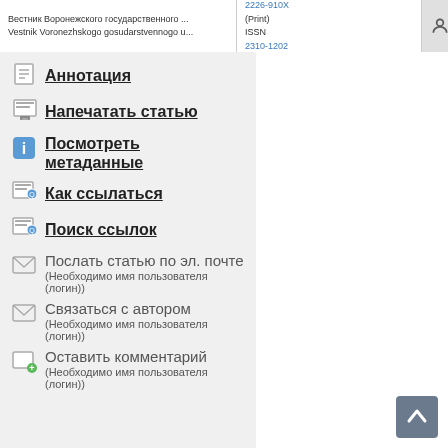Вестник Воронежского государственного ... | Vestnik Voronezhskogo gosudarstvennogo u... | ISSN 2226-910X (Print) | ISSN 2310-1202 (Online) | ENG | РУС
Аннотация
Напечатать статью
Посмотреть метаданные
Как ссылаться
Поиск ссылок
Послать статью по эл. почте (Необходимо имя пользователя (логин))
Связаться с автором (Необходимо имя пользователя (логин))
Оставить комментарий (Необходимо имя пользователя (логин))